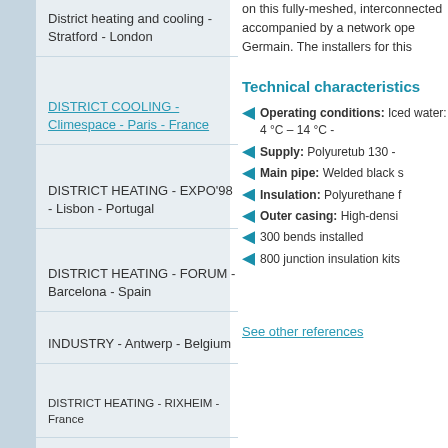District heating and cooling - Stratford - London
DISTRICT COOLING - Climespace - Paris - France
DISTRICT HEATING - EXPO'98 - Lisbon - Portugal
DISTRICT HEATING - FORUM - Barcelona - Spain
INDUSTRY - Antwerp - Belgium
DISTRICT HEATING - RIXHEIM - France
DISTRICT HEATING - La Thuile - Italy
DISTRICT HEATING - Bordeaux Town Hall - France
on this fully-meshed, interconnected accompanied by a network ope Germain. The installers for this
Technical characteristics
Operating conditions: Iced water: 4 °C – 14 °C -
Supply: Polyuretub 130 -
Main pipe: Welded black s
Insulation: Polyurethane f
Outer casing: High-densi
300 bends installed
800 junction insulation kits
See other references